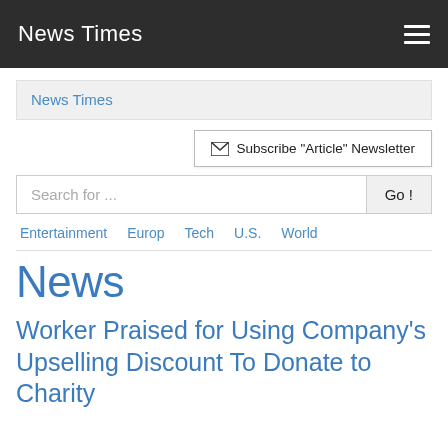News Times
News Times
Subscribe "Article" Newsletter
Search for ...
Entertainment
Europ
Tech
U.S.
World
News
Worker Praised for Using Company's Upselling Discount To Donate to Charity